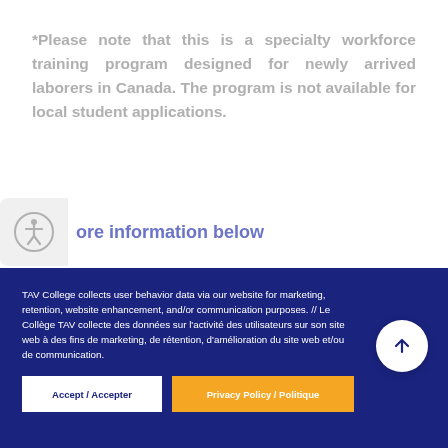*Please note that this is a specialty workforce training program designed for newly arrived laborers in Canada. The program is not available for local student applications.
more information below
TAV College collects user behavior data via our website for marketing, retention, website enhancement, and/or communication purposes. // Le Collège TAV collecte des données sur l'activité des utilisateurs sur son site web à des fins de marketing, de rétention, d'amélioration du site web et/ou de communication.
Accept / Accepter
Privacy Policy / Politique